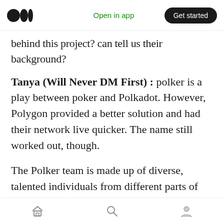Medium logo | Open in app | Get started
behind this project? can tell us their background?
Tanya (Will Never DM First) : polker is a play between poker and Polkadot. However, Polygon provided a better solution and had their network live quicker. The name still worked out, though.
The Polker team is made up of diverse, talented individuals from different parts of the globe, with backgrounds in dev, crypto, gaming, IT, social media and marketing, finance, customer service, architecture, etc. All of us bring to the table different skill sets that make Polker such a
Home | Search | Profile